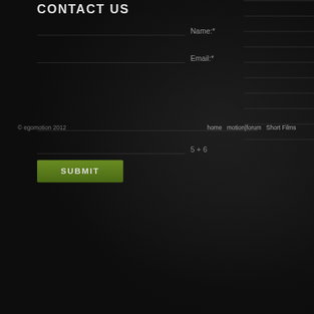CONTACT US
Name:*
Email:*
5 + 6
SUBMIT
© egomotion 2012   home   motion|forum   Short Films